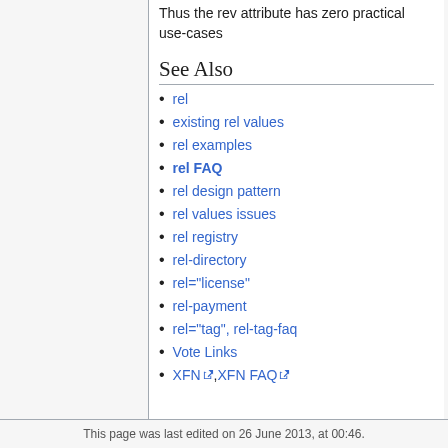Thus the rev attribute has zero practical use-cases
See Also
rel
existing rel values
rel examples
rel FAQ
rel design pattern
rel values issues
rel registry
rel-directory
rel="license"
rel-payment
rel="tag", rel-tag-faq
Vote Links
XFN, XFN FAQ
This page was last edited on 26 June 2013, at 00:46.